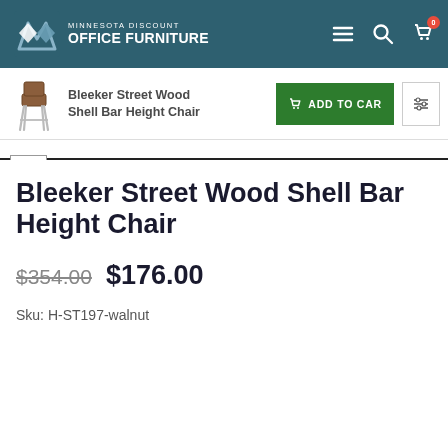[Figure (logo): Minnesota Discount Office Furniture logo with geometric M icon in blue/white on dark teal header]
MINNESOTA DISCOUNT OFFICE FURNITURE
[Figure (screenshot): Sticky bar with product thumbnail of Bleeker Street Wood Shell Bar Height Chair, title, Add to Cart button, and filter icon]
Bleeker Street Wood Shell Bar Height Chair
$354.00 $176.00
Sku: H-ST197-walnut